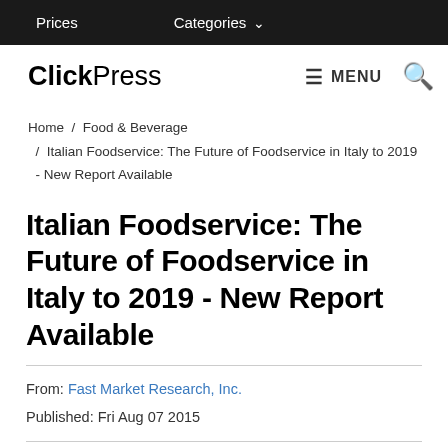Prices   Categories ∨
ClickPress   ≡ MENU   🔍
Home / Food & Beverage / Italian Foodservice: The Future of Foodservice in Italy to 2019 - New Report Available
Italian Foodservice: The Future of Foodservice in Italy to 2019 - New Report Available
From: Fast Market Research, Inc.
Published: Fri Aug 07 2015